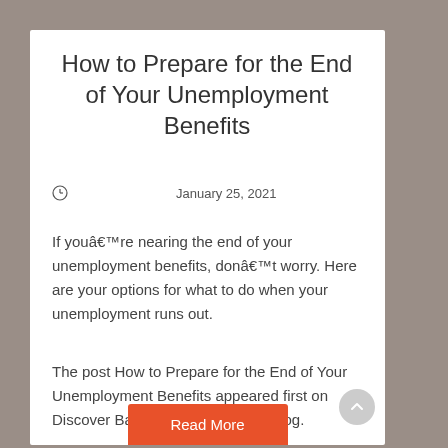How to Prepare for the End of Your Unemployment Benefits
January 25, 2021
If youâre nearing the end of your unemployment benefits, donât worry. Here are your options for what to do when your unemployment runs out.
The post How to Prepare for the End of Your Unemployment Benefits appeared first on Discover Bank – Banking Topics Blog.